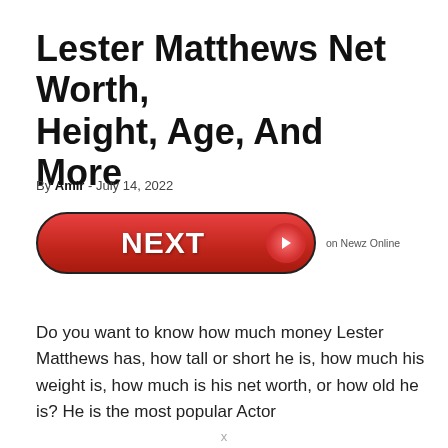Lester Matthews Net Worth, Height, Age, And More
By Amir - July 14, 2022
[Figure (other): NEXT button with arrow icon and 'on Newz Online' label]
Do you want to know how much money Lester Matthews has, how tall or short he is, how much his weight is, how much is his net worth, or how old he is? He is the most popular Actor